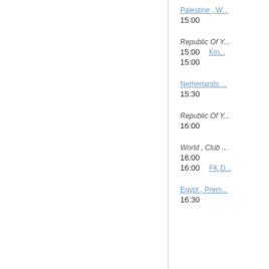Palestine , W...
15:00
Republic Of Y...
15:00   Kin...
15:00
Netherlands ...
15:30
Republic Of Y...
16:00
World , Club ...
16:00
16:00   FK D...
Egypt , Prem...
16:30